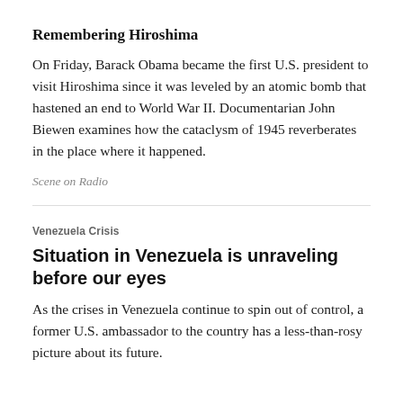Remembering Hiroshima
On Friday, Barack Obama became the first U.S. president to visit Hiroshima since it was leveled by an atomic bomb that hastened an end to World War II. Documentarian John Biewen examines how the cataclysm of 1945 reverberates in the place where it happened.
Scene on Radio
Venezuela Crisis
Situation in Venezuela is unraveling before our eyes
As the crises in Venezuela continue to spin out of control, a former U.S. ambassador to the country has a less-than-rosy picture about its future.